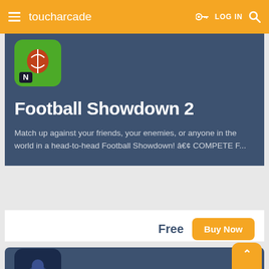toucharcade — LOG IN
[Figure (screenshot): Football Showdown 2 app icon — green rounded square with a football/N logo]
Football Showdown 2
Match up against your friends, your enemies, or anyone in the world in a head-to-head Football Showdown! • COMPETE F...
Free  Buy Now
[Figure (screenshot): Second game app icon — dark blue rounded square with robot/mech warriors holding weapons]